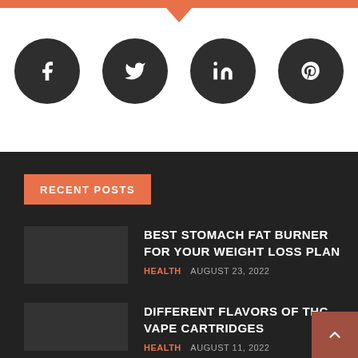[Figure (other): Social media icons row: Facebook, Twitter, LinkedIn, Pinterest — white icons on dark circular buttons]
RECENT POSTS
BEST STOMACH FAT BURNER FOR YOUR WEIGHT LOSS PLAN
HEALTH  AUGUST 23, 2022
DIFFERENT FLAVORS OF THC VAPE CARTRIDGES
HEALTH  AUGUST 11, 2022